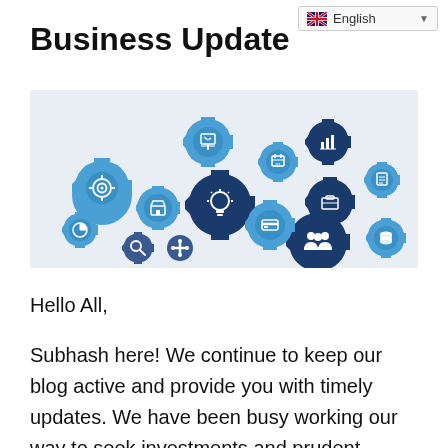🇬🇧 English ▾
Business Update
[Figure (illustration): A collection of blue and dark navy gear icons with business-related symbols including a target/goal, lightbulb, store/shop, chart, calendar, briefcase, credit card, people/team, search, and other business icons arranged in an interconnected gear pattern on a light gray background.]
Hello All,
Subhash here! We continue to keep our blog active and provide you with timely updates. We have been busy working our way to seek investments and prudent business partnerships. Recently we have signed a